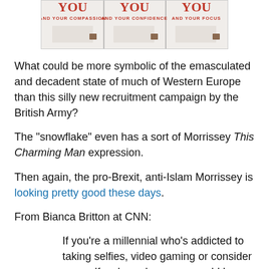[Figure (illustration): Three British Army recruitment poster panels showing text: 'YOU AND YOUR COMPASSION', 'YOU AND YOUR CONFIDENCE', 'YOU AND YOUR FOCUS' with red serif lettering on a pale background]
What could be more symbolic of the emasculated and decadent state of much of Western Europe than this silly new recruitment campaign by the British Army?
The "snowflake" even has a sort of Morrissey This Charming Man expression.
Then again, the pro-Brexit, anti-Islam Morrissey is looking pretty good these days.
From Bianca Britton at CNN:
If you're a millennial who's addicted to taking selfies, video gaming or consider yourself a class clown, you could be exactly what the British Army is looking for.
For its 2019 recruitment campaign, "Your Army Needs You," the army is seeking recruits from the